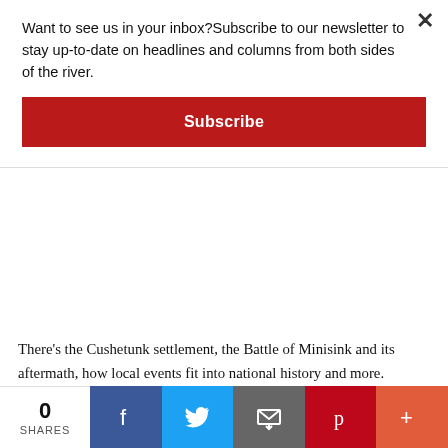Want to see us in your inbox?Subscribe to our newsletter to stay up-to-date on headlines and columns from both sides of the river.
Subscribe
There's the Cushetunk settlement, the Battle of Minisink and its aftermath, how local events fit into national history and more.
The park is located at 58 County Road 168 in Barryville. It is owned and operated by Sullivan County, and historical programming is provided by the Delaware Company, a nonprofit education group.
For more information, visit the group on Facebook at TheDelCo
0 SHARES